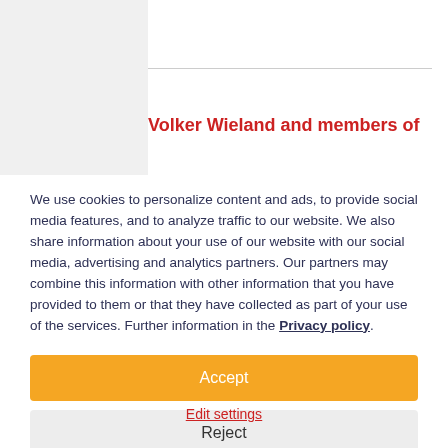Volker Wieland and members of
We use cookies to personalize content and ads, to provide social media features, and to analyze traffic to our website. We also share information about your use of our website with our social media, advertising and analytics partners. Our partners may combine this information with other information that you have provided to them or that they have collected as part of your use of the services. Further information in the Privacy policy.
Accept
Reject
Edit settings